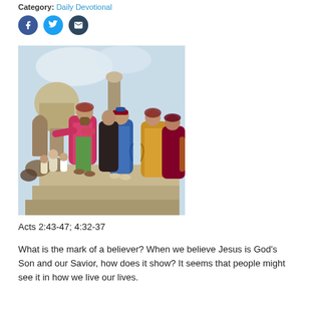Category: Daily Devotional
[Figure (illustration): Biblical illustration showing a robed man (Jesus or apostle) preaching with outstretched arm to a gathered crowd, set against an ancient city backdrop with columns and arches. The figures wear colorful robes in red, pink, blue, and yellow.]
Acts 2:43-47; 4:32-37
What is the mark of a believer? When we believe Jesus is God’s Son and our Savior, how does it show? It seems that people might see it in how we live our lives.